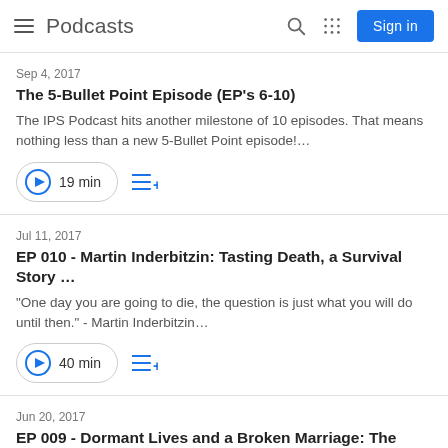Podcasts
Sep 4, 2017
The 5-Bullet Point Episode (EP's 6-10)
The IPS Podcast hits another milestone of 10 episodes. That means nothing less than a new 5-Bullet Point episode!…
19 min
Jul 11, 2017
EP 010 - Martin Inderbitzin: Tasting Death, a Survival Story …
"One day you are going to die, the question is just what you will do until then." - Martin Inderbitzin…
40 min
Jun 20, 2017
EP 009 - Dormant Lives and a Broken Marriage: The Story o…